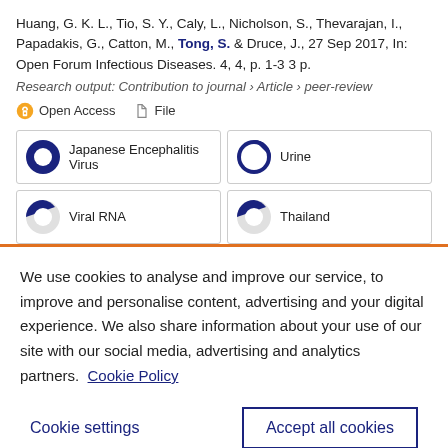Huang, G. K. L., Tio, S. Y., Caly, L., Nicholson, S., Thevarajan, I., Papadakis, G., Catton, M., Tong, S. & Druce, J., 27 Sep 2017, In: Open Forum Infectious Diseases. 4, 4, p. 1-3 3 p.
Research output: Contribution to journal › Article › peer-review
Open Access   File
Japanese Encephalitis Virus
Urine
Viral RNA
Thailand
We use cookies to analyse and improve our service, to improve and personalise content, advertising and your digital experience. We also share information about your use of our site with our social media, advertising and analytics partners.  Cookie Policy
Cookie settings
Accept all cookies